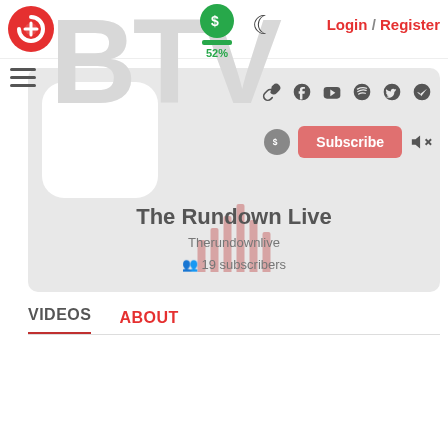[Figure (screenshot): Website top navigation bar with red circular logo (C), green dollar badge showing 52%, moon icon, and Login/Register links in red]
[Figure (screenshot): Podcast/channel profile card with white rounded avatar placeholder, social icons (link, Facebook, YouTube, Spotify, Twitter, Telegram), Subscribe button in pink/red, dollar icon, sound-off icon, channel name 'The Rundown Live', handle 'Therundownlive', and '19 subscribers' with users icon]
VIDEOS
ABOUT